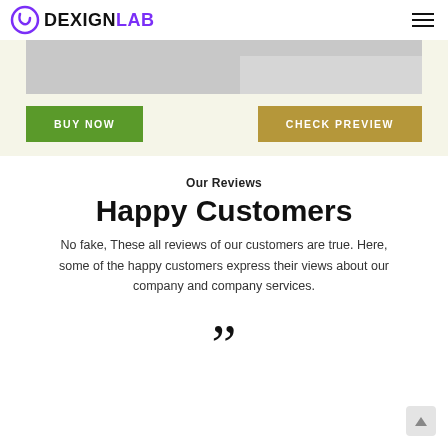DEXIGNLAB
[Figure (screenshot): Gray banner placeholder image with lighter gray tab element]
BUY NOW
CHECK PREVIEW
Our Reviews
Happy Customers
No fake, These all reviews of our customers are true. Here, some of the happy customers express their views about our company and company services.
[Figure (illustration): Large closing double quotation mark symbol]